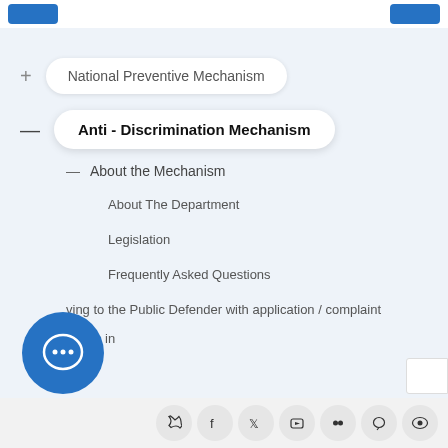National Preventive Mechanism
Anti - Discrimination Mechanism
About the Mechanism
About The Department
Legislation
Frequently Asked Questions
...ving to the Public Defender with application / complaint
...pation in
Reports